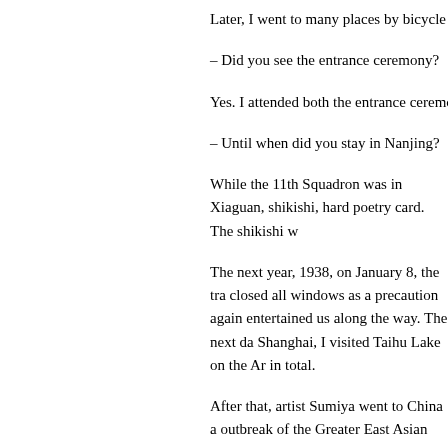Later, I went to many places by bicycle a
– Did you see the entrance ceremony?
Yes. I attended both the entrance ceremo
– Until when did you stay in Nanjing?
While the 11th Squadron was in Xiaguan, shikishi, hard poetry card. The shikishi w
The next year, 1938, on January 8, the tra closed all windows as a precaution again entertained us along the way. The next da Shanghai, I visited Taihu Lake on the Ar in total.
After that, artist Sumiya went to China a outbreak of the Greater East Asian War,
The interview with Mr. Sumiya at the M